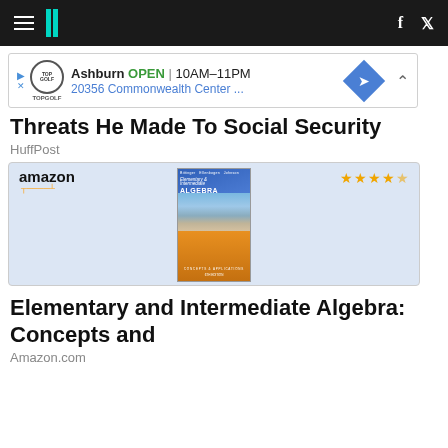HuffPost navigation with hamburger menu, logo, Facebook and Twitter icons
[Figure (screenshot): TopGolf advertisement banner: Ashburn OPEN 10AM-11PM, 20356 Commonwealth Center...]
Threats He Made To Social Security
HuffPost
[Figure (screenshot): Amazon product listing for Elementary and Intermediate Algebra: Concepts and Applications textbook with 4.5 star rating]
Elementary and Intermediate Algebra: Concepts and
Amazon.com